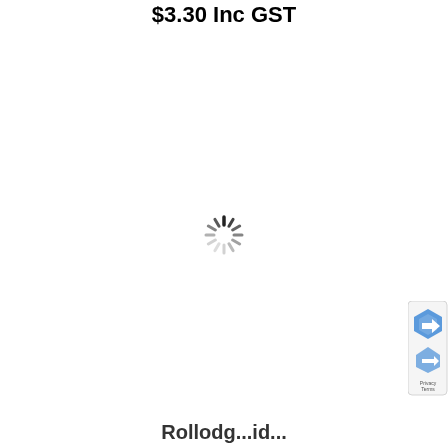$3.30 Inc GST
[Figure (other): Loading spinner — circular dashed spinner icon indicating content is loading]
[Figure (other): reCAPTCHA badge widget on right side showing shield logo with Privacy and Terms links]
Rollodg...id...